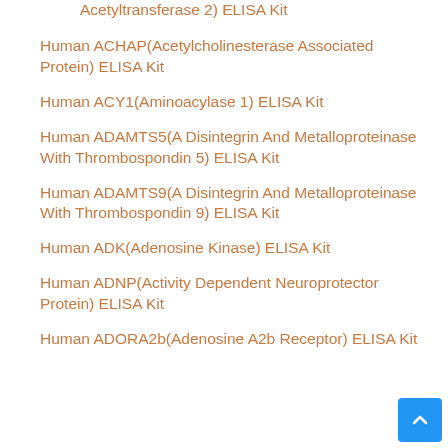Acetyltransferase 2) ELISA Kit
Human ACHAP(Acetylcholinesterase Associated Protein) ELISA Kit
Human ACY1(Aminoacylase 1) ELISA Kit
Human ADAMTS5(A Disintegrin And Metalloproteinase With Thrombospondin 5) ELISA Kit
Human ADAMTS9(A Disintegrin And Metalloproteinase With Thrombospondin 9) ELISA Kit
Human ADK(Adenosine Kinase) ELISA Kit
Human ADNP(Activity Dependent Neuroprotector Protein) ELISA Kit
Human ADORA2b(Adenosine A2b Receptor) ELISA Kit